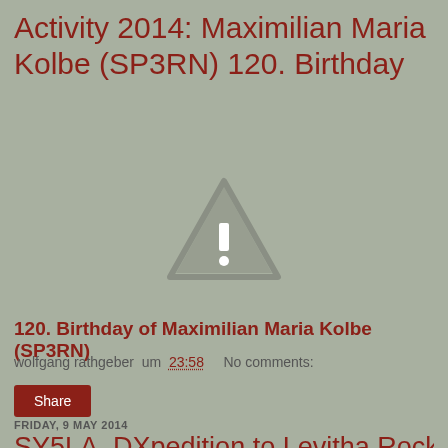Activity 2014: Maximilian Maria Kolbe (SP3RN) 120. Birthday
[Figure (illustration): Warning triangle icon with exclamation mark, gray/muted style]
120. Birthday of Maximilian Maria Kolbe (SP3RN)
wolfgang rathgeber um 23:58   No comments:
Share
FRIDAY, 9 MAY 2014
SY5LA, DXpedition to Levitha Rocky